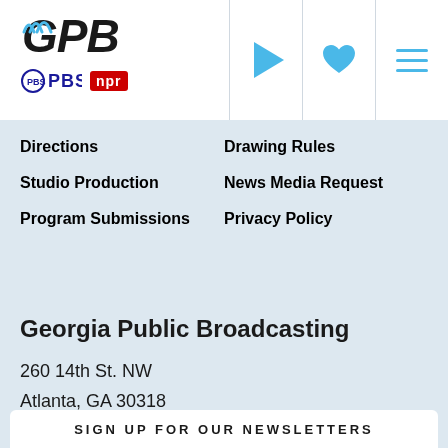[Figure (logo): GPB logo with waves, PBS and NPR partner logos]
Directions
Drawing Rules
Studio Production
News Media Request
Program Submissions
Privacy Policy
Georgia Public Broadcasting
260 14th St. NW
Atlanta, GA 30318
(404) 685-2400 In Atlanta
(800) 222-4788 Outside Atlanta
ask@gpb.org
SIGN UP FOR OUR NEWSLETTERS